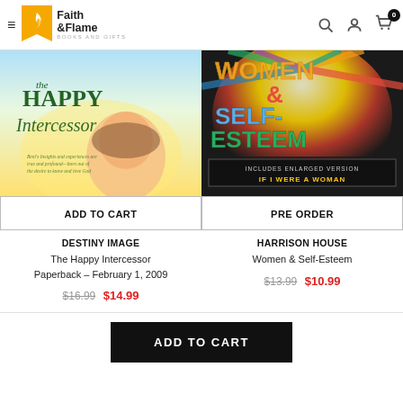Faith & Flame Books and Gifts
[Figure (photo): Book cover: The Happy Intercessor by Beni Johnson, showing a woman with head tilted back laughing/smiling, yellow and blue sky background]
ADD TO CART
[Figure (photo): Book cover: Women & Self-Esteem, colorful psychedelic design with bold stylized text, includes enlarged version If I Were a Woman]
PRE ORDER
DESTINY IMAGE
The Happy Intercessor Paperback – February 1, 2009
$16.99  $14.99
HARRISON HOUSE
Women & Self-Esteem
$13.99  $10.99
ADD TO CART